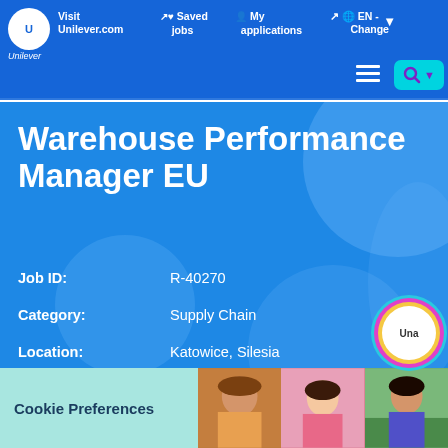Visit Unilever.com | Saved jobs | My applications | EN - Change
Warehouse Performance Manager EU
Job ID: R-40270
Category: Supply Chain
Location: Katowice, Silesia
Date posted: 06/15/2022
Cookie Preferences